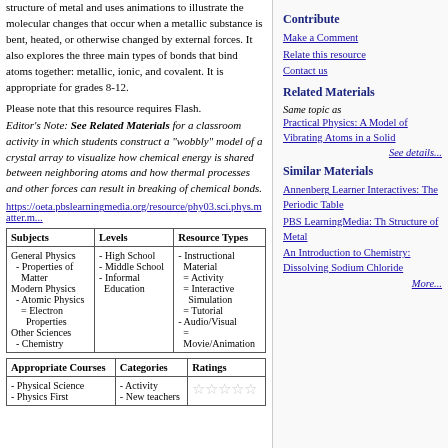structure of metal and uses animations to illustrate the molecular changes that occur when a metallic substance is bent, heated, or otherwise changed by external forces. It also explores the three main types of bonds that bind atoms together: metallic, ionic, and covalent. It is appropriate for grades 8-12.
Please note that this resource requires Flash.
Editor's Note: See Related Materials for a classroom activity in which students construct a "wobbly" model of a crystal array to visualize how chemical energy is shared between neighboring atoms and how thermal processes and other forces can result in breaking of chemical bonds.
https://oeta.pbslearningmedia.org/resource/phy03.sci.phys.matter.m...
| Subjects | Levels | Resource Types |
| --- | --- | --- |
| General Physics
- Properties of Matter
Modern Physics
- Atomic Physics
= Electron Properties
Other Sciences
- Chemistry | - High School
- Middle School
- Informal Education | - Instructional Material
= Activity
= Interactive Simulation
= Tutorial
- Audio/Visual
= Movie/Animation |
| Appropriate Courses | Categories | Ratings |
| --- | --- | --- |
| - Physical Science
- Physics First | - Activity
- New teachers | ☆☆☆☆☆ |
Contribute
Make a Comment
Relate this resource
Contact us
Related Materials
Same topic as
Practical Physics: A Model of Vibrating Atoms in a Solid
See details...
Similar Materials
Annenberg Learner Interactives: The Periodic Table
PBS LearningMedia: The Structure of Metal
An Introduction to Chemistry: Dissolving Sodium Chloride
More...